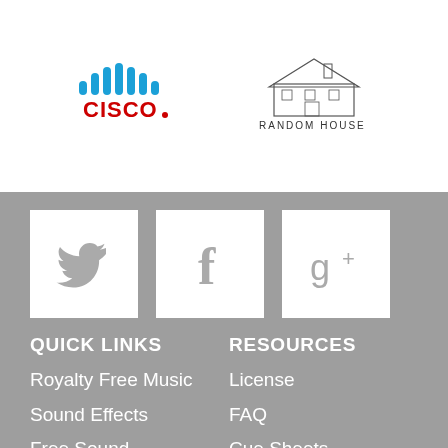[Figure (logo): Cisco logo with blue bars above and red CISCO text]
[Figure (logo): Random House logo with house illustration and RANDOM HOUSE text]
[Figure (logo): Twitter bird icon in white square on grey background]
[Figure (logo): Facebook f icon in white square on grey background]
[Figure (logo): Google+ g+ icon in white square on grey background]
QUICK LINKS
RESOURCES
Royalty Free Music
License
Sound Effects
FAQ
Free Sound
Cue Sheets